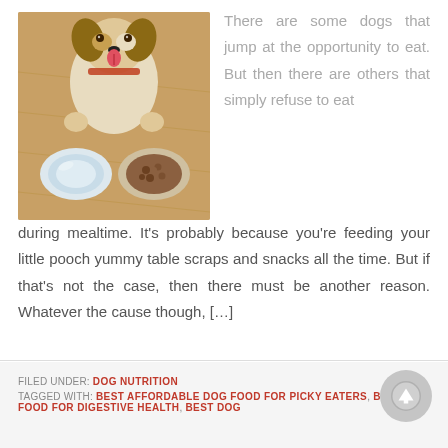[Figure (photo): Overhead view of a dog (Jack Russell Terrier) licking its lips, looking up at camera, with two food bowls in front of it on a wooden floor]
There are some dogs that jump at the opportunity to eat. But then there are others that simply refuse to eat during mealtime. It's probably because you're feeding your little pooch yummy table scraps and snacks all the time. But if that's not the case, then there must be another reason. Whatever the cause though, […]
FILED UNDER: DOG NUTRITION
TAGGED WITH: BEST AFFORDABLE DOG FOOD FOR PICKY EATERS, BEST DOG FOOD FOR DIGESTIVE HEALTH, BEST DOG